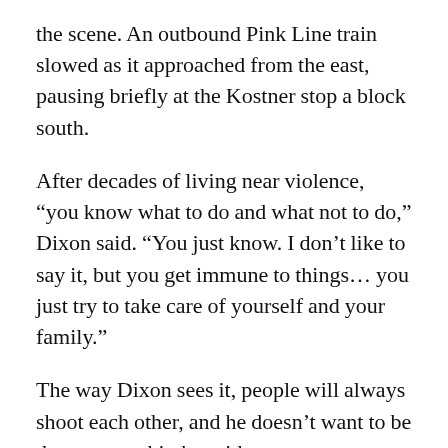the scene. An outbound Pink Line train slowed as it approached from the east, pausing briefly at the Kostner stop a block south.
After decades of living near violence, “you know what to do and what not to do,” Dixon said. “You just know. I don’t like to say it, but you get immune to things… you just try to take care of yourself and your family.”
The way Dixon sees it, people will always shoot each other, and he doesn’t want to be the next one hit, he said.
Down the street, the wounded were a 25-year-old